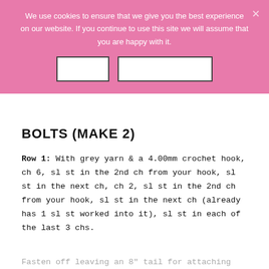We use cookies to ensure that we give you the best experience on our website. If you continue to use this site we will assume that you are happy with it.
BOLTS (MAKE 2)
Row 1: With grey yarn & a 4.00mm crochet hook, ch 6, sl st in the 2nd ch from your hook, sl st in the next ch, ch 2, sl st in the 2nd ch from your hook, sl st in the next ch (already has 1 sl st worked into it), sl st in each of the last 3 chs.
Fasten off leaving an 8" tail for attaching the bolts to the